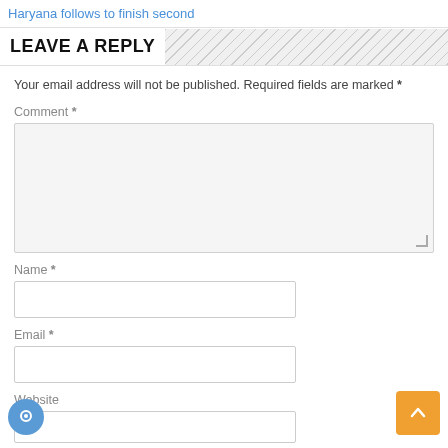Haryana follows to finish second
LEAVE A REPLY
Your email address will not be published. Required fields are marked *
Comment *
Name *
Email *
Website